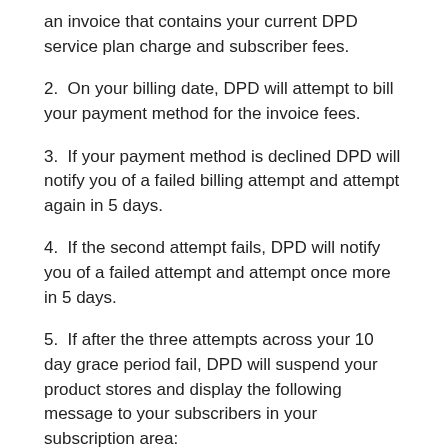an invoice that contains your current DPD service plan charge and subscriber fees.
2.  On your billing date, DPD will attempt to bill your payment method for the invoice fees.
3.  If your payment method is declined DPD will notify you of a failed billing attempt and attempt again in 5 days.
4.  If the second attempt fails, DPD will notify you of a failed attempt and attempt once more in 5 days.
5.  If after the three attempts across your 10 day grace period fail, DPD will suspend your product stores and display the following message to your subscribers in your subscription area:
Content Temporarily Removed